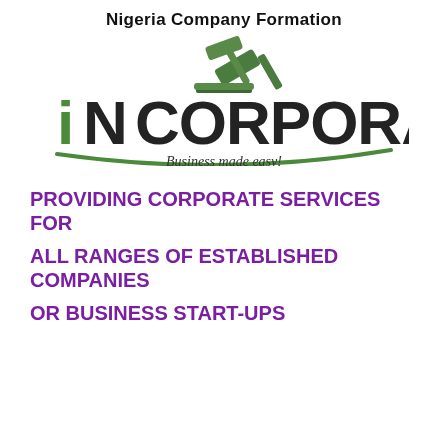Nigeria Company Formation
[Figure (logo): iNCORPORATION logo with gavel icon and green underline curve, tagline: Business made easy!]
PROVIDING CORPORATE SERVICES FOR
ALL RANGES OF ESTABLISHED COMPANIES
OR BUSINESS START-UPS